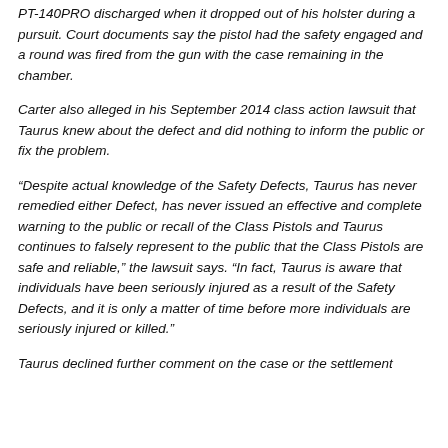PT-140PRO discharged when it dropped out of his holster during a pursuit. Court documents say the pistol had the safety engaged and a round was fired from the gun with the case remaining in the chamber.
Carter also alleged in his September 2014 class action lawsuit that Taurus knew about the defect and did nothing to inform the public or fix the problem.
“Despite actual knowledge of the Safety Defects, Taurus has never remedied either Defect, has never issued an effective and complete warning to the public or recall of the Class Pistols and Taurus continues to falsely represent to the public that the Class Pistols are safe and reliable,” the lawsuit says. “In fact, Taurus is aware that individuals have been seriously injured as a result of the Safety Defects, and it is only a matter of time before more individuals are seriously injured or killed.”
Taurus declined further comment on the case or the settlement